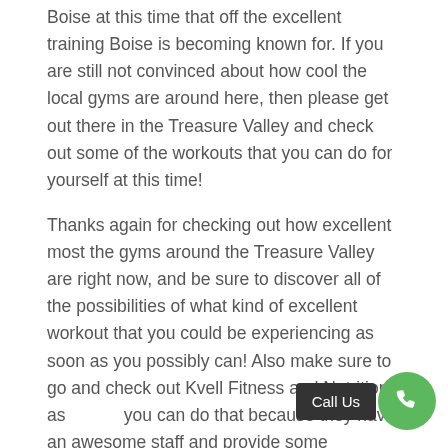Boise at this time that off the excellent training Boise is becoming known for. If you are still not convinced about how cool the local gyms are around here, then please get out there in the Treasure Valley and check out some of the workouts that you can do for yourself at this time!
Thanks again for checking out how excellent most the gyms around the Treasure Valley are right now, and be sure to discover all of the possibilities of what kind of excellent workout that you could be experiencing as soon as you possibly can! Also make sure to go and check out Kvell Fitness and Nutrition as you can do that because they have an awesome staff and provide some excellent facilities to